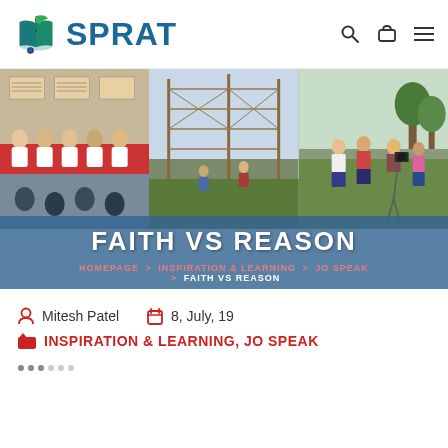[Figure (logo): SPRAT website logo with book and quill icon and teal/blue SPRAT text]
[Figure (photo): Hero banner with three panels: a conference/seminar panel, a rope obstacle course/climbing structure, and students outdoors with equipment. Overlaid with 'FAITH VS REASON' title and breadcrumb navigation.]
Mitesh Patel   8, July, 19
INSPIRATION & LEARNING, JO SPEAK